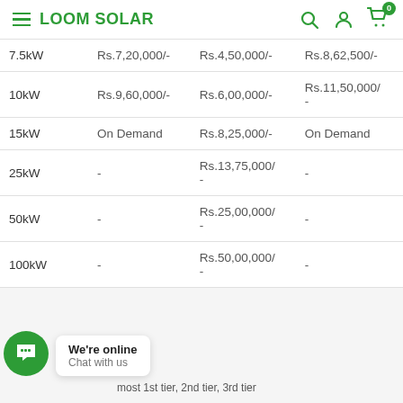LOOM SOLAR
| Capacity | On-Grid | Off-Grid | Hybrid |
| --- | --- | --- | --- |
| 7.5kW | Rs.7,20,000/- | Rs.4,50,000/- | Rs.8,62,500/- |
| 10kW | Rs.9,60,000/- | Rs.6,00,000/- | Rs.11,50,000/
- |
| 15kW | On Demand | Rs.8,25,000/- | On Demand |
| 25kW | - | Rs.13,75,000/
- | - |
| 50kW | - | Rs.25,00,000/
- | - |
| 100kW | - | Rs.50,00,000/
- | - |
We're online
Chat with us
most 1st tier, 2nd tier, 3rd tier